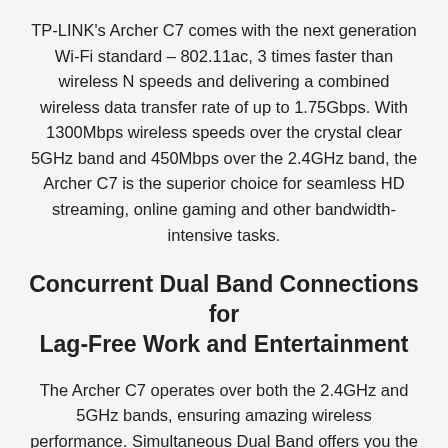TP-LINK's Archer C7 comes with the next generation Wi-Fi standard – 802.11ac, 3 times faster than wireless N speeds and delivering a combined wireless data transfer rate of up to 1.75Gbps. With 1300Mbps wireless speeds over the crystal clear 5GHz band and 450Mbps over the 2.4GHz band, the Archer C7 is the superior choice for seamless HD streaming, online gaming and other bandwidth-intensive tasks.
Concurrent Dual Band Connections for Lag-Free Work and Entertainment
The Archer C7 operates over both the 2.4GHz and 5GHz bands, ensuring amazing wireless performance. Simultaneous Dual Band offers you the flexibility of two dedicated networks – with multiple times the bandwidth for your needs. Simple tasks like sending e-mails or web